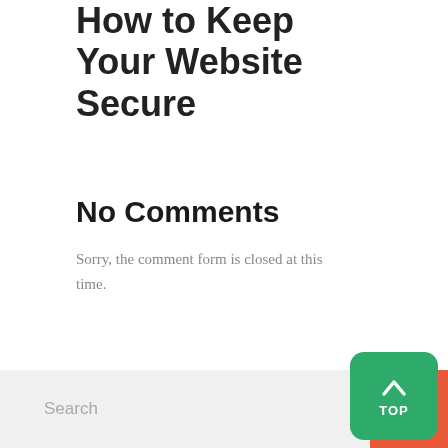How to Keep Your Website Secure
No Comments
Sorry, the comment form is closed at this time.
[Figure (screenshot): Search bar with orange search button and green TOP button overlay]